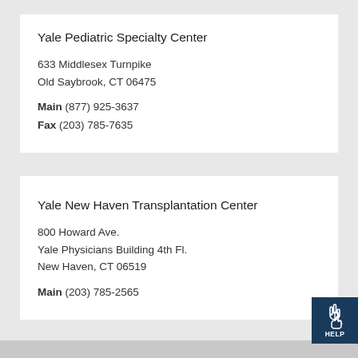Yale Pediatric Specialty Center
633 Middlesex Turnpike
Old Saybrook, CT 06475
Main (877) 925-3637
Fax (203) 785-7635
Yale New Haven Transplantation Center
800 Howard Ave.
Yale Physicians Building 4th Fl.
New Haven, CT 06519
Main (203) 785-2565